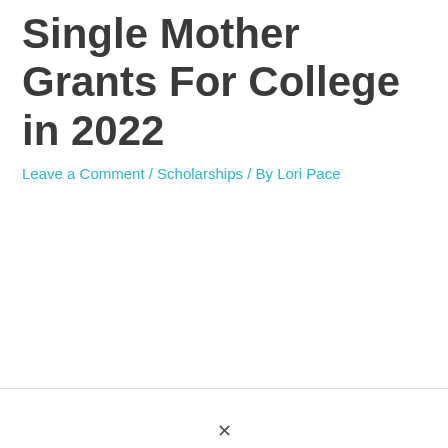Single Mother Grants For College in 2022
Leave a Comment / Scholarships / By Lori Pace